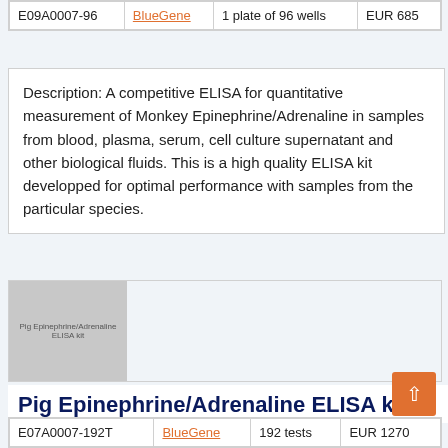| ID | Supplier | Format | Price |
| --- | --- | --- | --- |
| E09A0007-96 | BlueGene | 1 plate of 96 wells | EUR 685 |
Description: A competitive ELISA for quantitative measurement of Monkey Epinephrine/Adrenaline in samples from blood, plasma, serum, cell culture supernatant and other biological fluids. This is a high quality ELISA kit developped for optimal performance with samples from the particular species.
[Figure (photo): Product image placeholder for Pig Epinephrine/Adrenaline ELISA kit showing gray box with text label]
Pig Epinephrine/Adrenaline ELISA kit
| ID | Supplier | Format | Price |
| --- | --- | --- | --- |
| E07A0007-192T | BlueGene | 192 tests | EUR 1270 |